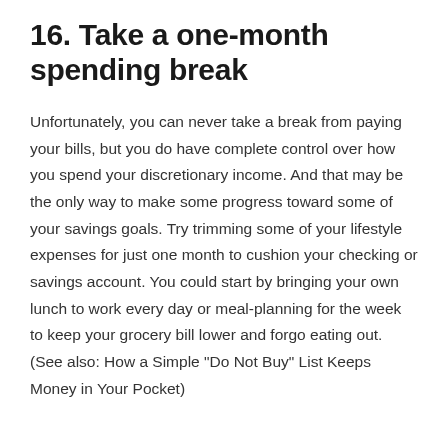16. Take a one-month spending break
Unfortunately, you can never take a break from paying your bills, but you do have complete control over how you spend your discretionary income. And that may be the only way to make some progress toward some of your savings goals. Try trimming some of your lifestyle expenses for just one month to cushion your checking or savings account. You could start by bringing your own lunch to work every day or meal-planning for the week to keep your grocery bill lower and forgo eating out. (See also: How a Simple "Do Not Buy" List Keeps Money in Your Pocket)